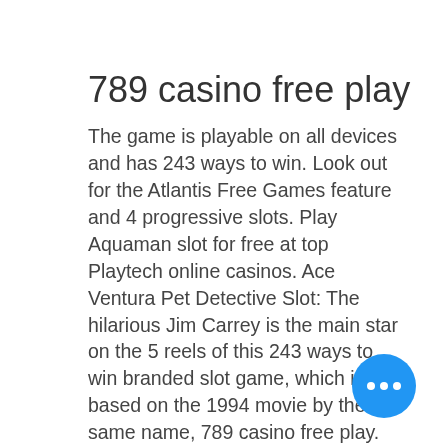789 casino free play
The game is playable on all devices and has 243 ways to win. Look out for the Atlantis Free Games feature and 4 progressive slots. Play Aquaman slot for free at top Playtech online casinos. Ace Ventura Pet Detective Slot: The hilarious Jim Carrey is the main star on the 5 reels of this 243 ways to win branded slot game, which is based on the 1994 movie by the same name, 789 casino free play. Multiple bonus features, including 3 in-reel features in the base game make this a hugely entertaining title.
No deposit bonuses are a type of casino bonuses given to players without the need for them to deposit their own money into the casino, 789 casino free play.
Totewin will be the qualifying bet when Totewin and a Toteplace bet are struck at the